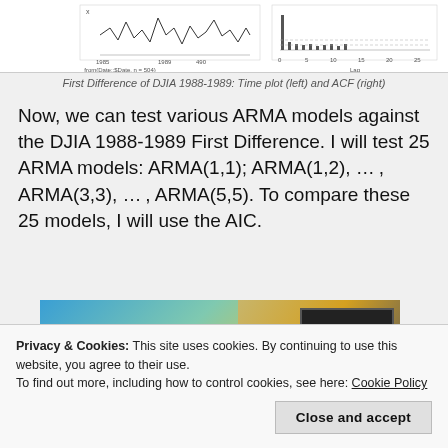[Figure (continuous-plot): Time plot (left) and ACF (right) of First Difference of DJIA 1988-1989. Left panel shows a time series plot with x-axis labeled from 1985 to 1990 and y-axis labeled with values. Right panel shows autocorrelation function (ACF) with Lag on x-axis (0 to 25).]
First Difference of DJIA 1988-1989: Time plot (left) and ACF (right)
Now, we can test various ARMA models against the DJIA 1988-1989 First Difference. I will test 25 ARMA models: ARMA(1,1); ARMA(1,2), … , ARMA(3,3), … , ARMA(5,5). To compare these 25 models, I will use the AIC.
[Figure (screenshot): Screenshot of a website or application with blue-green gradient on the left portion and a golden/dark figure on the right with a dark overlay panel showing an 'Aa' button.]
Privacy & Cookies: This site uses cookies. By continuing to use this website, you agree to their use.
To find out more, including how to control cookies, see here: Cookie Policy
Close and accept